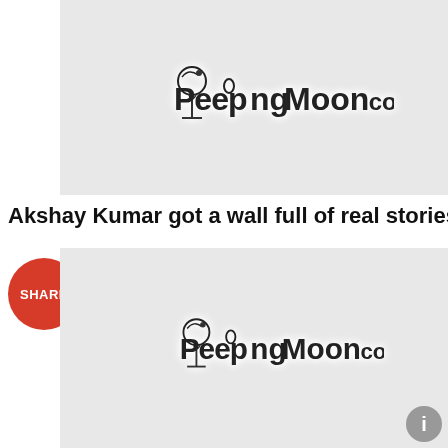[Figure (screenshot): PeepingMoon.com logo on light gray background, top section]
Akshay Kumar got a wall full of real stories & crim
[Figure (logo): Red circular SHARE button]
[Figure (screenshot): PeepingMoon.com logo on light gray background, bottom section with info circle]